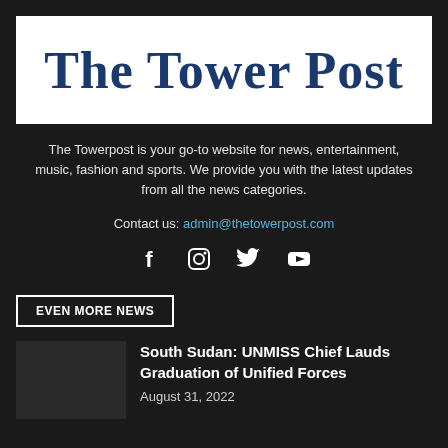[Figure (logo): The Tower Post newspaper logo in old English blackletter font, dark blue on white background]
The Towerpost is your go-to website for news, entertainment, music, fashion and sports. We provide you with the latest updates from all the news categories.
Contact us: admin@thetowerpost.com
[Figure (illustration): Social media icons: Facebook, Instagram, Twitter, YouTube]
EVEN MORE NEWS
South Sudan: UNMISS Chief Lauds Graduation of Unified Forces
August 31, 2022